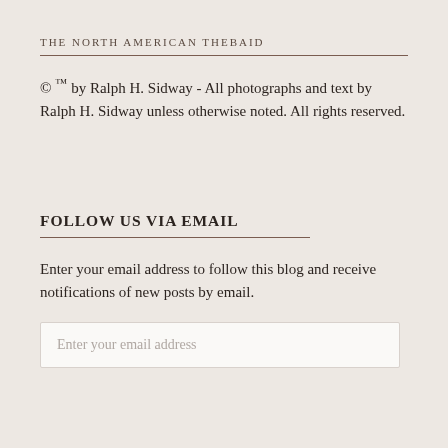THE NORTH AMERICAN THEBAID
© ™ by Ralph H. Sidway - All photographs and text by Ralph H. Sidway unless otherwise noted. All rights reserved.
FOLLOW US VIA EMAIL
Enter your email address to follow this blog and receive notifications of new posts by email.
Enter your email address